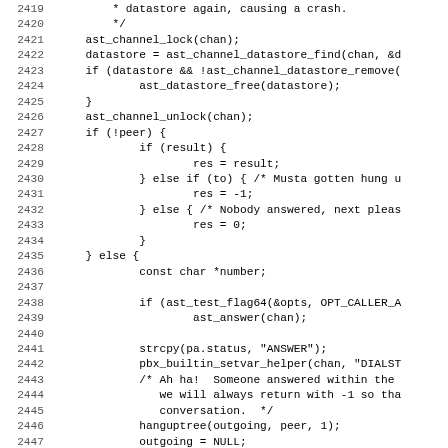Source code listing, lines 2419-2451, C programming language
2419:          * datastore again, causing a crash.
2420:          */
2421:      ast_channel_lock(chan);
2422:      datastore = ast_channel_datastore_find(chan, &d
2423:      if (datastore && !ast_channel_datastore_remove(
2424:              ast_datastore_free(datastore);
2425:      }
2426:      ast_channel_unlock(chan);
2427:      if (!peer) {
2428:              if (result) {
2429:                      res = result;
2430:              } else if (to) { /* Musta gotten hung u
2431:                      res = -1;
2432:              } else { /* Nobody answered, next pleas
2433:                      res = 0;
2434:              }
2435:      } else {
2436:              const char *number;
2437:
2438:              if (ast_test_flag64(&opts, OPT_CALLER_A
2439:                      ast_answer(chan);
2440:
2441:              strcpy(pa.status, "ANSWER");
2442:              pbx_builtin_setvar_helper(chan, "DIALST
2443:              /* Ah ha!  Someone answered within the
2444:                 we will always return with -1 so tha
2445:                 conversation.  */
2446:              hanguptree(outgoing, peer, 1);
2447:              outgoing = NULL;
2448:              /* If appropriate, log that we have a c
2449:              if (chan->cdr) {
2450:                      ast_cdr_setdestchan(chan->cdr,
2451:                      ast_cdr_setanswer(chan->cdr,